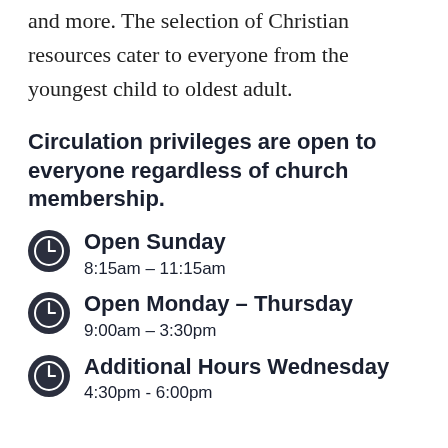and more. The selection of Christian resources cater to everyone from the youngest child to oldest adult.
Circulation privileges are open to everyone regardless of church membership.
Open Sunday
8:15am – 11:15am
Open Monday – Thursday
9:00am – 3:30pm
Additional Hours Wednesday
4:30pm - 6:00pm